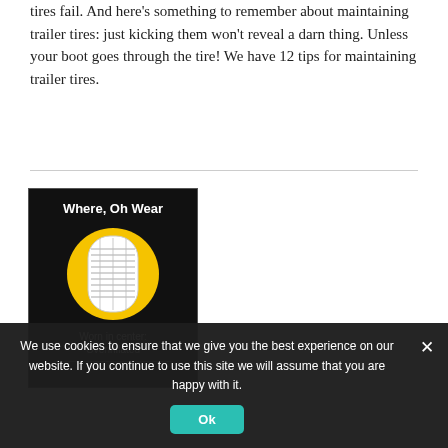tires fail. And here's something to remember about maintaining trailer tires: just kicking them won't reveal a darn thing. Unless your boot goes through the tire! We have 12 tips for maintaining trailer tires.
[Figure (infographic): Black card with title 'Where, Oh Wear' showing a tire tread cross-section on a yellow circle background, with caption 'Worn in center: Overinflated' and a horizontal rule below.]
We use cookies to ensure that we give you the best experience on our website. If you continue to use this site we will assume that you are happy with it.